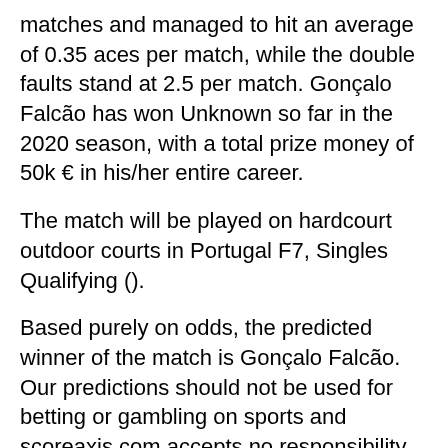matches and managed to hit an average of 0.35 aces per match, while the double faults stand at 2.5 per match. Gonçalo Falcão has won Unknown so far in the 2020 season, with a total prize money of 50k € in his/her entire career.
The match will be played on hardcourt outdoor courts in Portugal F7, Singles Qualifying ().
Based purely on odds, the predicted winner of the match is Gonçalo Falcão. Our predictions should not be used for betting or gambling on sports and scoreaxis.com accepts no responsibility or liability for any (direct or indirect) financial or other loss that may result from using our statistical data, predictions or any other content present on this website.
ADVERTISEMENT
Yesterday matches
Tommorow matches